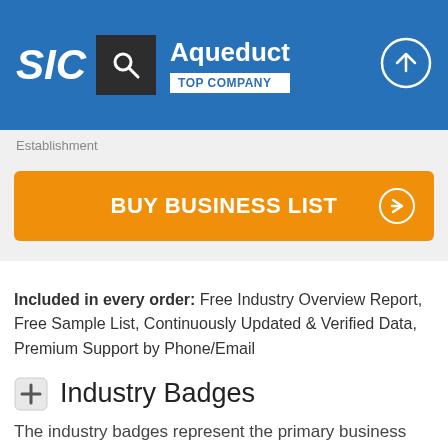SIC | Aqueduct TOP COMPANY
Establishment
[Figure (other): Orange BUY BUSINESS LIST button with right-arrow circle icon]
Included in every order: Free Industry Overview Report, Free Sample List, Continuously Updated & Verified Data, Premium Support by Phone/Email
Industry Badges
The industry badges represent the primary business activity of Aqueduct at this specific location.
[Figure (logo): Partial blue arc/logo at the bottom of the page]